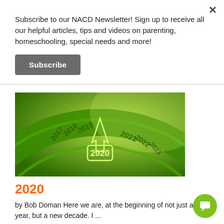Subscribe to our NACD Newsletter! Sign up to receive all our helpful articles, tips and videos on parenting, homeschooling, special needs and more!
Subscribe
[Figure (illustration): A green 3D year wheel/calendar dial showing years 2017 through 2023 in a circular arrangement, with 2020 highlighted in the center with a pointer/arrow.]
2020
by Bob Doman Here we are, at the beginning of not just a new year, but a new decade. I ...
Read More